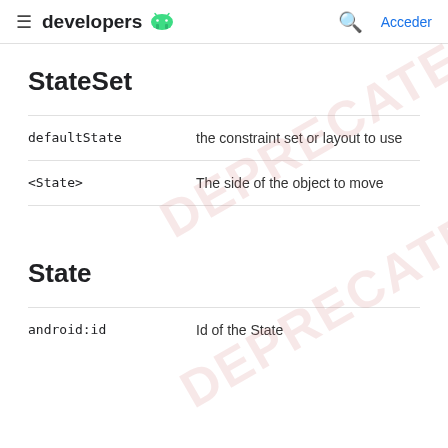≡  developers 🤖   🔍  Acceder
StateSet
| Attribute | Description |
| --- | --- |
| defaultState | the constraint set or layout to use |
| <State> | The side of the object to move |
State
| Attribute | Description |
| --- | --- |
| android:id | Id of the State |